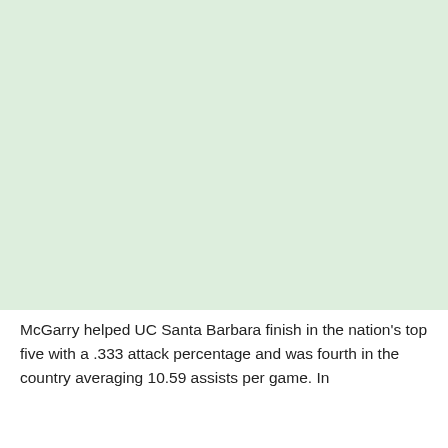[Figure (other): Large light green rectangular area occupying the top portion of the page]
McGarry helped UC Santa Barbara finish in the nation's top five with a .333 attack percentage and was fourth in the country averaging 10.59 assists per game. In addition, McGarry concluded the season with a 3.43 di...